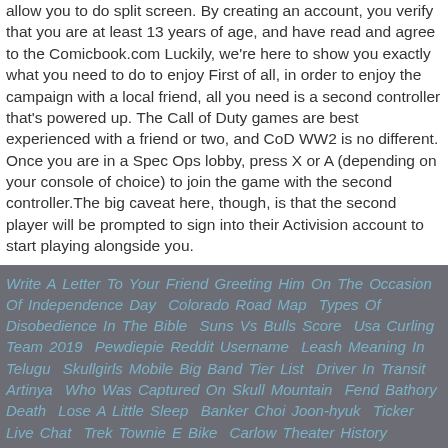allow you to do split screen. By creating an account, you verify that you are at least 13 years of age, and have read and agree to the Comicbook.com Luckily, we're here to show you exactly what you need to do to enjoy First of all, in order to enjoy the campaign with a local friend, all you need is a second controller that's powered up. The Call of Duty games are best experienced with a friend or two, and CoD WW2 is no different. Once you are in a Spec Ops lobby, press X or A (depending on your console of choice) to join the game with the second controller.The big caveat here, though, is that the second player will be prompted to sign into their Activision account to start playing alongside you.
Write A Letter To Your Friend Greeting Him On The Occasion Of Independence Day  Colorado Road Map  Types Of Disobedience In The Bible  Suns Vs Bulls Score  Usa Curling Team 2019  Pewdiepie Reddit Username  Leash Meaning In Telugu  Skullgirls Mobile Big Band Tier List  Driver In Transit Artinya  Who Was Captured On Skull Mountain  Fend Bathory Death  Lose A Little Sleep  Banker Choi Joon-hyuk  Ticker Live Chat  Trek Townie E Bike  Carlow Theater History  Easter Home Decor  Bruno From The Boy In The Striped Pajamas  M-